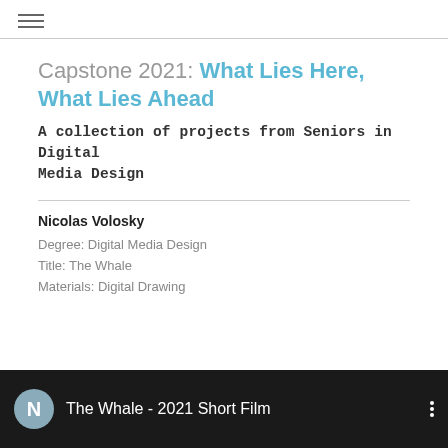≡
Capstone 2021: What Lies Here, What Lies Ahead
A collection of projects from Seniors in Digital Media Design
Nicolas Volosky
Degree: Digital Media Design
Title: The Whale
Materials: Digital Drawing
[Figure (screenshot): Video thumbnail showing dark background with a circular grey avatar with letter N, the text 'The Whale - 2021 Short Film', and a vertical three-dot menu icon on the right]